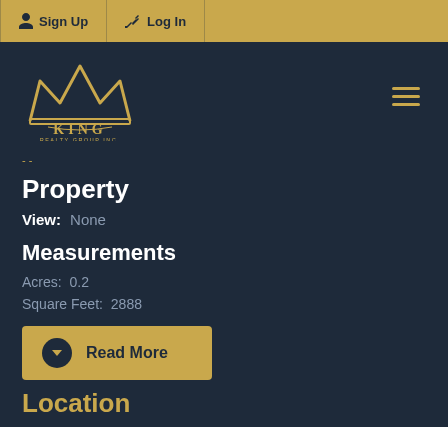Sign Up  Log In
[Figure (logo): King Realty Group Inc. logo with gold crown icon and text]
Property
View: None
Measurements
Acres: 0.2
Square Feet: 2888
Read More
Location